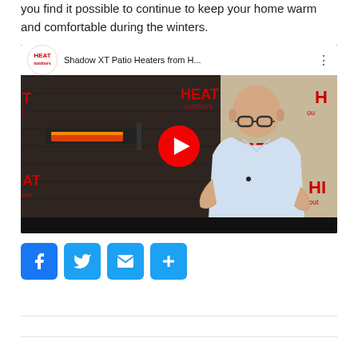you find it possible to continue to keep your home warm and comfortable during the winters.
[Figure (screenshot): YouTube video thumbnail showing a man presenting a wall-mounted patio infrared heater with title 'Shadow XT Patio Heaters from H...' and Heat Outdoors logo]
[Figure (infographic): Social sharing buttons: Facebook, Twitter, Email, Share (AddThis)]